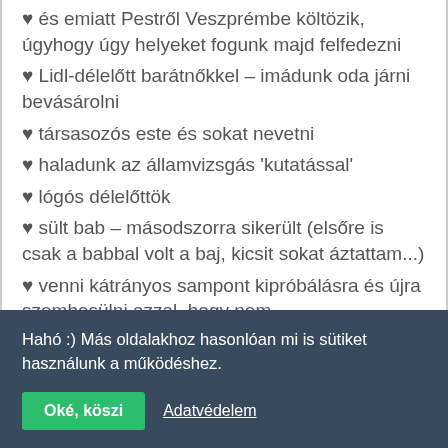♥ és emiatt Pestről Veszprémbe költözik, úgyhogy úgy helyeket fogunk majd felfedezni
♥ Lidl-délelőtt barátnőkkel – imádunk oda járni bevásárolni
♥ társasozós este és sokat nevetni
♥ haladunk az államvizsgás 'kutatással'
♥ lógós délelőttök
♥ sült bab – másodszorra sikerült (elsőre is csak a babbal volt a baj, kicsit sokat áztattam...)
♥ venni kátrányos sampont kipróbálásra és újra szembesülni azzal, hogy nem
Hahó :) Más oldalakhoz hasonlóan mi is sütiket használunk a működéshez.
Oké, köszi   Adatvédelem